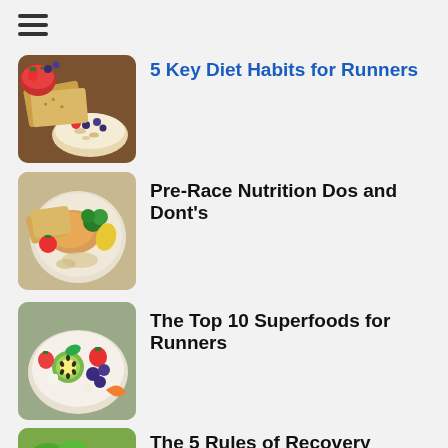[Figure (illustration): Hamburger menu icon with three horizontal lines]
[Figure (photo): Food items including crackers, berries, and oatmeal bowl]
5 Key Diet Habits for Runners
[Figure (photo): Mixed food plate with vegetables, chicken, and grains]
Pre-Race Nutrition Dos and Dont's
[Figure (photo): Bowl of colorful fruit salad with kiwi, berries, and citrus]
The Top 10 Superfoods for Runners
[Figure (photo): Green vegetables and orange fruits with fitness equipment]
The 5 Rules of Recovery Nutrition